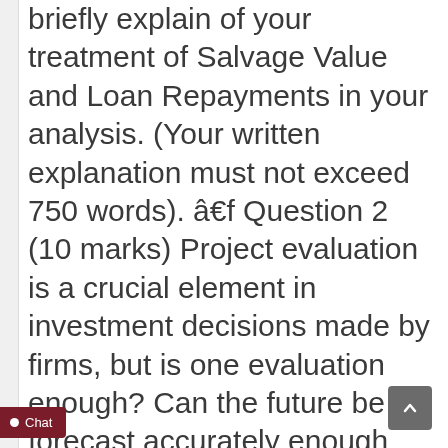Board. Also asked that you briefly explain of your treatment of Salvage Value and Loan Repayments in your analysis. (Your written explanation must not exceed 750 words). â€f Question 2 (10 marks) Project evaluation is a crucial element in investment decisions made by firms, but is one evaluation enough? Can the future be forecast accurately enough that only one set of numbers need be assessed? Curtis Industries Limited (CIL) is a mining services contractor operating in